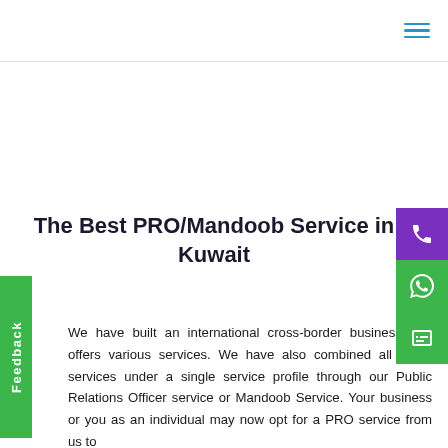The Best PRO/Mandoob Service in Kuwait
We have built an international cross-border business that offers various services. We have also combined all these services under a single service profile through our Public Relations Officer service or Mandoob Service. Your business or you as an individual may now opt for a PRO service from us to benefit from our performance efforts.